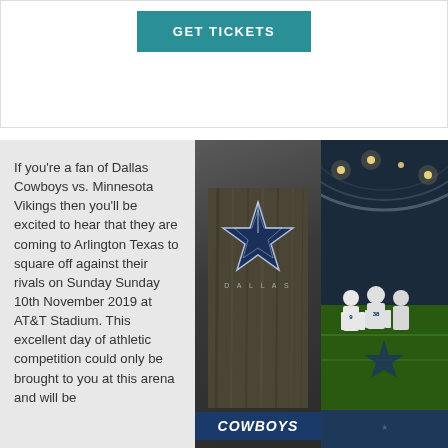[Figure (other): GET TICKETS button — teal/dark cyan rectangular button with white uppercase bold text]
If you're a fan of Dallas Cowboys vs. Minnesota Vikings then you'll be excited to hear that they are coming to Arlington Texas to square off against their rivals on Sunday Sunday 10th November 2019 at AT&T Stadium. This excellent day of athletic competition could only be brought to you at this arena and will be
[Figure (photo): Left: Dallas Cowboys logo — silver star on dark wood background with 'DALLAS' text and 'COWBOYS' banner. Right: NFL players in white Cowboys uniforms on a blue Dallas Cowboys star logo on the field inside AT&T Stadium.]